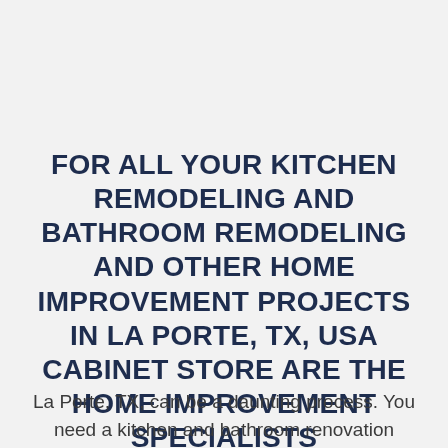FOR ALL YOUR KITCHEN REMODELING AND BATHROOM REMODELING AND OTHER HOME IMPROVEMENT PROJECTS IN LA PORTE, TX, USA CABINET STORE ARE THE HOME IMPROVEMENT SPECIALISTS
La Porte, TX, can be a daunting process. You need a kitchen and bathroom renovation